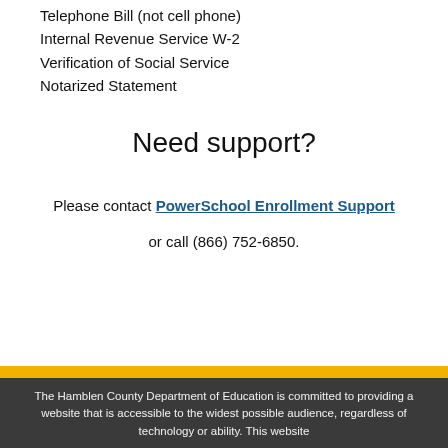Telephone Bill (not cell phone)
Internal Revenue Service W-2
Verification of Social Service
Notarized Statement
Need support?
Please contact PowerSchool Enrollment Support or call (866) 752-6850.
The Hamblen County Department of Education is committed to providing a website that is accessible to the widest possible audience, regardless of technology or ability. This website